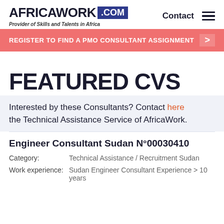AFRICAWORK .COM — Provider of Skills and Talents in Africa — Contact
REGISTER TO FIND A PMO CONSULTANT ASSIGNMENT >
FEATURED CVS
Interested by these Consultants? Contact here the Technical Assistance Service of AfricaWork.
Engineer Consultant Sudan N°00030410
Category: Technical Assistance / Recruitment Sudan
Work experience: Sudan Engineer Consultant Experience > 10 years